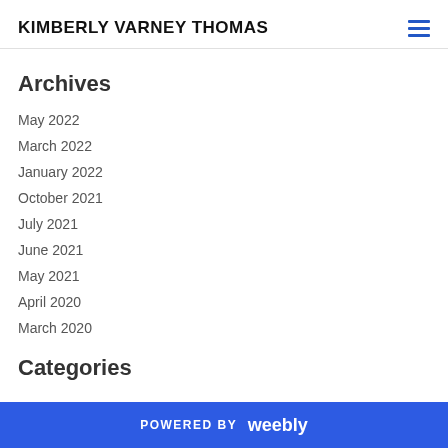KIMBERLY VARNEY THOMAS
Archives
May 2022
March 2022
January 2022
October 2021
July 2021
June 2021
May 2021
April 2020
March 2020
Categories
POWERED BY weebly